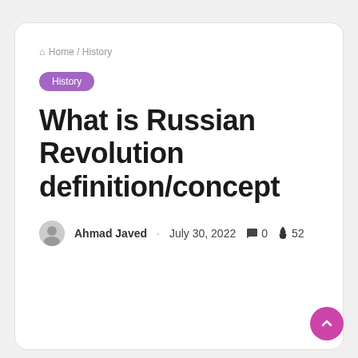Home / History
History
What is Russian Revolution definition/concept
Ahmad Javed · July 30, 2022  0  52